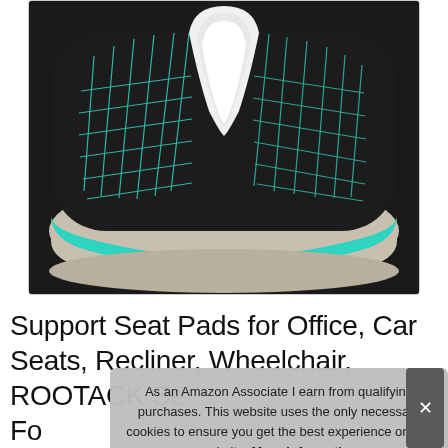[Figure (photo): A black memory foam seat cushion with teal/turquoise grid pattern lines on the top surface and a U-shaped cutout in the center back. The cushion has a beige/white mesh fabric on the sides and a teal accent stripe along the middle edge. The product is photographed on a white background.]
Support Seat Pads for Office, Car Seats, Recliner, Wheelchair, ROOTACK Se Fo Re
As an Amazon Associate I earn from qualifying purchases. This website uses the only necessary cookies to ensure you get the best experience on our website. More information